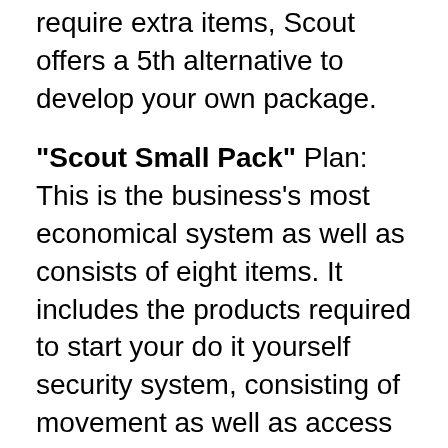require extra items, Scout offers a 5th alternative to develop your own package.
"Scout Small Pack" Plan: This is the business's most economical system as well as consists of eight items. It includes the products required to start your do it yourself security system, consisting of movement as well as access sensing units. The pack also includes two crucial fobs so you can easily equip and disarm the system. This pack is best-suited for those who want fundamental safety insurance coverage or reside in a smaller sized house.
"Scout Large Pack" Bundle: If you need to secure a larger area in your home or your residence has numerous access factors, the